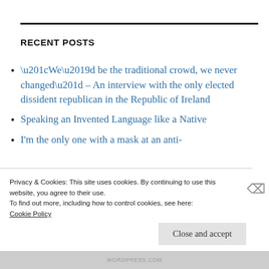RECENT POSTS
“We’d be the traditional crowd, we never changed” – An interview with the only elected dissident republican in the Republic of Ireland
Speaking an Invented Language like a Native
I’m the only one with a mask at an anti-
Privacy & Cookies: This site uses cookies. By continuing to use this website, you agree to their use.
To find out more, including how to control cookies, see here:
Cookie Policy
Close and accept